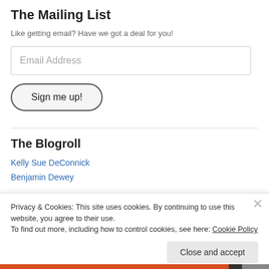The Mailing List
Like getting email? Have we got a deal for you!
Email Address
Sign me up!
The Blogroll
Kelly Sue DeConnick
Benjamin Dewey
Privacy & Cookies: This site uses cookies. By continuing to use this website, you agree to their use.
To find out more, including how to control cookies, see here: Cookie Policy
Close and accept